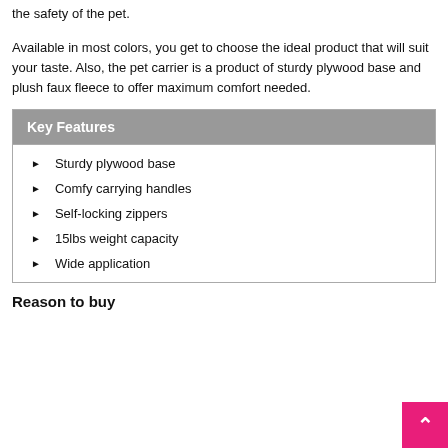the safety of the pet.
Available in most colors, you get to choose the ideal product that will suit your taste. Also, the pet carrier is a product of sturdy plywood base and plush faux fleece to offer maximum comfort needed.
Key Features
Sturdy plywood base
Comfy carrying handles
Self-locking zippers
15lbs weight capacity
Wide application
Reason to buy